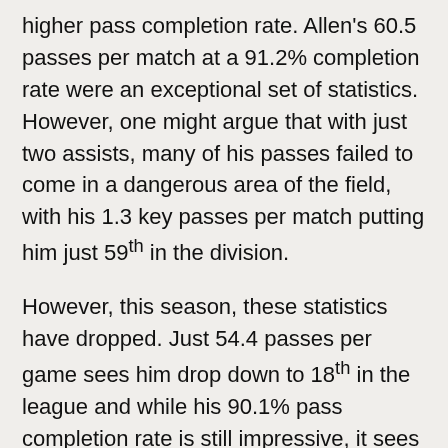higher pass completion rate. Allen's 60.5 passes per match at a 91.2% completion rate were an exceptional set of statistics. However, one might argue that with just two assists, many of his passes failed to come in a dangerous area of the field, with his 1.3 key passes per match putting him just 59th in the division.
However, this season, these statistics have dropped. Just 54.4 passes per game sees him drop down to 18th in the league and while his 90.1% pass completion rate is still impressive, it sees him drop to 9th amongst midfielders in the division. In addition, his key passes have dropped further to just 0.8 per match, suggesting that he is not providing a great deal of threat to the opposition goal.
While he was never a regular threat on goal at Swansea with just 1.1 shots per game on average and four goals during the season, this has also dropped further this season.  He is averaging just 0.4 shots per game and is yet to score in the current campaign.
Whether the fact that Joe Allen is no longer the standout